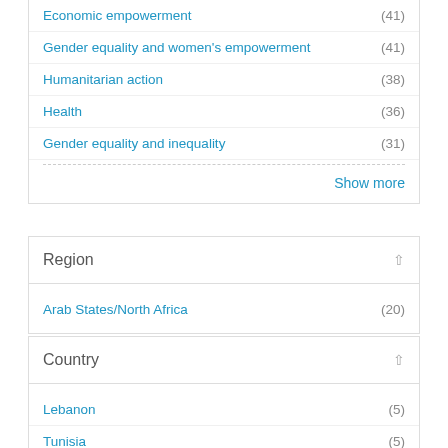Economic empowerment (41)
Gender equality and women's empowerment (41)
Humanitarian action (38)
Health (36)
Gender equality and inequality (31)
Show more
Region
Arab States/North Africa (20)
Country
Lebanon (5)
Tunisia (5)
Palestine, State of (4)